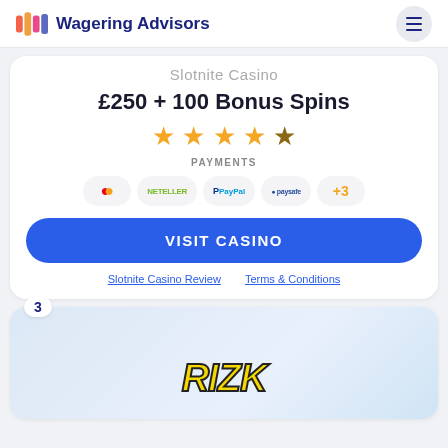Wagering Advisors
Slotnite Casino (partial, cut off)
£250 + 100 Bonus Spins
4.5 star rating
PAYMENTS
Mastercard, NETELLER, PayPal, paysafe, +3
VISIT CASINO
Slotnite Casino Review   Terms & Conditions
3
[Figure (logo): RIZK casino logo in yellow/black bold font]